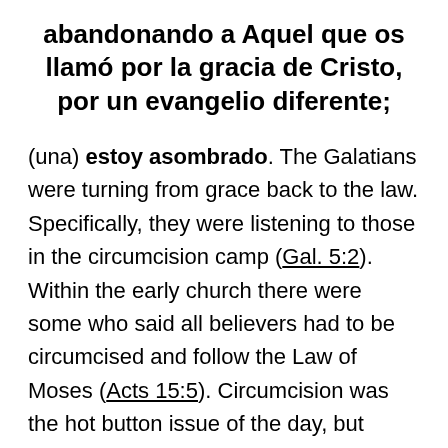abandonando a Aquel que os llamó por la gracia de Cristo, por un evangelio diferente;
(una) estoy asombrado. The Galatians were turning from grace back to the law. Specifically, they were listening to those in the circumcision camp (Gal. 5:2). Within the early church there were some who said all believers had to be circumcised and follow the Law of Moses (Acts 15:5). Circumcision was the hot button issue of the day, but legalism has many forms (see entrada for Gal. 1:7).